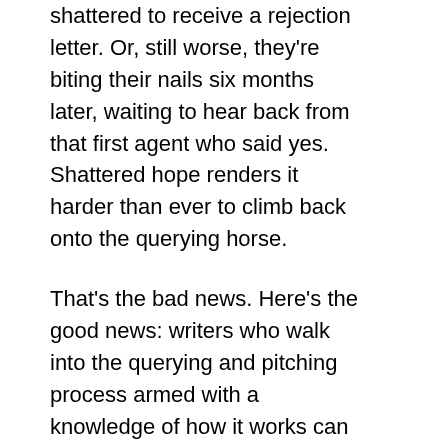shattered to receive a rejection letter. Or, still worse, they're biting their nails six months later, waiting to hear back from that first agent who said yes. Shattered hope renders it harder than ever to climb back onto the querying horse.

That's the bad news. Here's the good news: writers who walk into the querying and pitching process armed with a knowledge of how it works can avoid this awful fate through a simple, albeit energy-consuming, strategy. Send what that first agent asks to see, but keep querying other agents, just